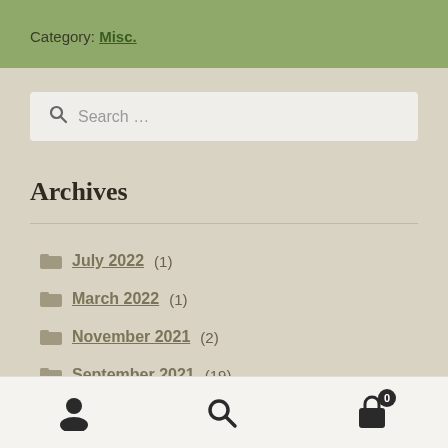Category: Misc.
Search ...
Archives
July 2022 (1)
March 2022 (1)
November 2021 (2)
September 2021 (19)
User icon, Search icon, Cart icon (0)